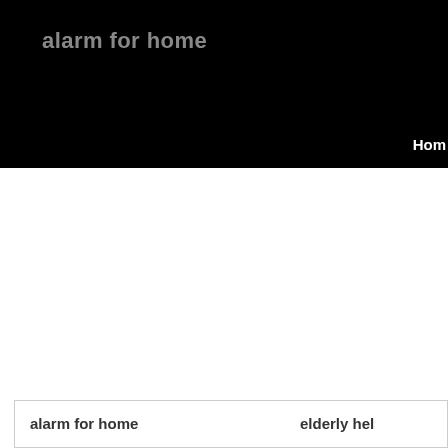alarm for home
Hom
alarm for home
elderly hel